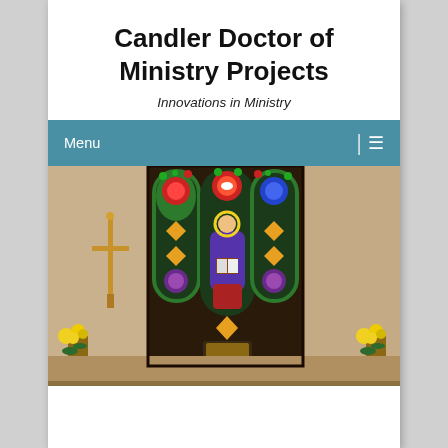Candler Doctor of Ministry Projects
Innovations in Ministry
Menu
[Figure (photo): Photograph of a church interior showing a stained glass window with a religious figure in purple robes holding a book, flanked by ornate colored glass panels in green, red, gold, and blue geometric patterns. A gold cross stands to the left on the altar, with yellow flower arrangements on either side.]